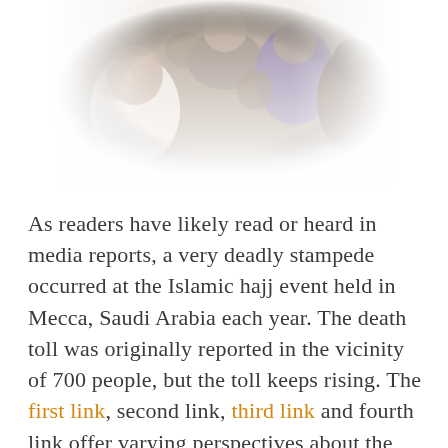[Figure (photo): A crowd of people at what appears to be a large gathering or religious event. Multiple individuals visible, some wearing white garments. Photo has a vignette/faded edge effect.]
As readers have likely read or heard in media reports, a very deadly stampede occurred at the Islamic hajj event held in Mecca, Saudi Arabia each year. The death toll was originally reported in the vicinity of 700 people, but the toll keeps rising. The first link, second link, third link and fourth link offer varying perspectives about the details of the disastrous event, and report that 863 people were also